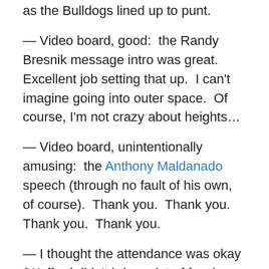as the Bulldogs lined up to punt.
— Video board, good:  the Randy Bresnik message intro was great.  Excellent job setting that up.  I can't imagine going into outer space.  Of course, I'm not crazy about heights…
— Video board, unintentionally amusing:  the Anthony Maldanado speech (through no fault of his own, of course).  Thank you.  Thank you.  Thank you.  Thank you.
— I thought the attendance was okay (Wofford didn't bring a lot of fans).  Plenty of alums were wandering around, taking in the sights at the almost brand-new stadium, marveling at bathroom facilities that weren't holdovers from the 19th century.  Everyone was ready to cheer; there just wasn't anything worth cheering about, at least on the field.